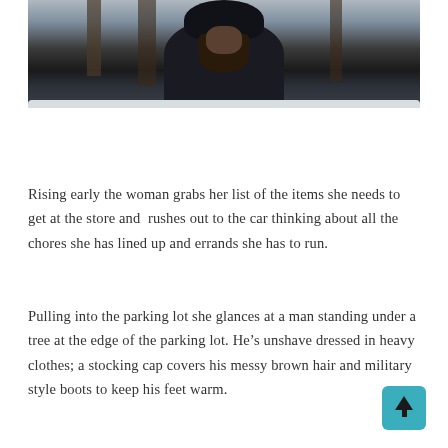[Figure (photo): A dark, hooded figure standing in a wintry forest scene with bare snow-covered trees in the background. The person has long dark hair and is wearing a heavy dark coat or cloak, looking downward.]
Rising early the woman grabs her list of the items she needs to get at the store and  rushes out to the car thinking about all the chores she has lined up and errands she has to run.
Pulling into the parking lot she glances at a man standing under a tree at the edge of the parking lot. He’s unshave dressed in heavy clothes; a stocking cap covers his messy brown hair and military style boots to keep his feet warm.